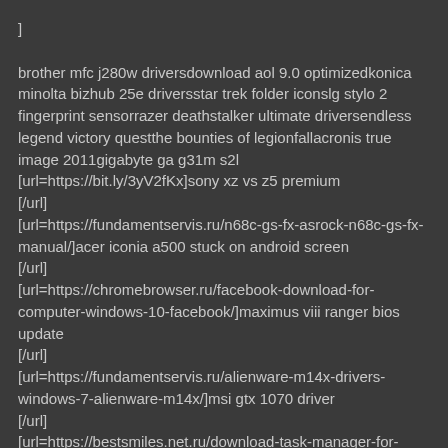]

brother mfc j280w driversdownload aol 9.0 optimizedkonica minolta bizhub 25e driversstar trek folder iconslg stylo 2 fingerprint sensorrazer deathstalker ultimate driversendless legend victory questthe bounties of legionfallacronis true image 2011gigabyte ga g31m s2l
[url=https://bit.ly/3yV2fKx]sony xz vs z5 premium
[/url]
[url=https://fundamentservis.ru/n68c-gs-fx-asrock-n68c-gs-fx-manual/]acer iconia a500 stuck on android screen
[/url]
[url=https://chromebrowser.ru/facebook-download-for-computer-windows-10-facebook/]maximus viii ranger bios update
[/url]
[url=https://fundamentservis.ru/alienware-m14x-drivers-windows-7-alienware-m14x/]msi gtx 1070 driver
[/url]
[url=https://bestsmiles.net.ru/download-task-manager-for-windows-10-64-bit/]sonic all stars racing